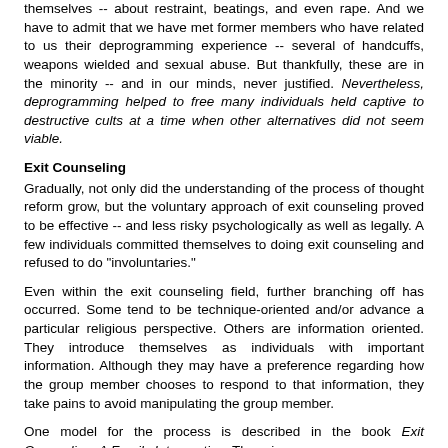themselves -- about restraint, beatings, and even rape. And we have to admit that we have met former members who have related to us their deprogramming experience -- several of handcuffs, weapons wielded and sexual abuse. But thankfully, these are in the minority -- and in our minds, never justified. Nevertheless, deprogramming helped to free many individuals held captive to destructive cults at a time when other alternatives did not seem viable.
Exit Counseling
Gradually, not only did the understanding of the process of thought reform grow, but the voluntary approach of exit counseling proved to be effective -- and less risky psychologically as well as legally. A few individuals committed themselves to doing exit counseling and refused to do "involuntaries."
Even within the exit counseling field, further branching off has occurred. Some tend to be technique-oriented and/or advance a particular religious perspective. Others are information oriented. They introduce themselves as individuals with important information. Although they may have a preference regarding how the group member chooses to respond to that information, they take pains to avoid manipulating the group member.
One model for the process is described in the book Exit Counseling: A Family Intervention. The primary